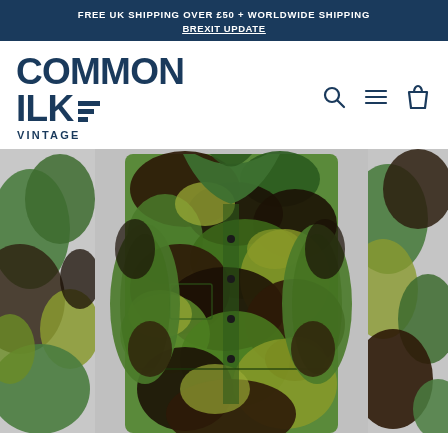FREE UK SHIPPING OVER £50 + WORLDWIDE SHIPPING
BREXIT UPDATE
[Figure (logo): Common Ilke Vintage logo with horizontal bars accent]
[Figure (photo): DPM camouflage military jacket displayed on white background, showing green, brown and black woodland camouflage pattern with button front and multiple pockets. Side panels show partial views of additional jackets.]